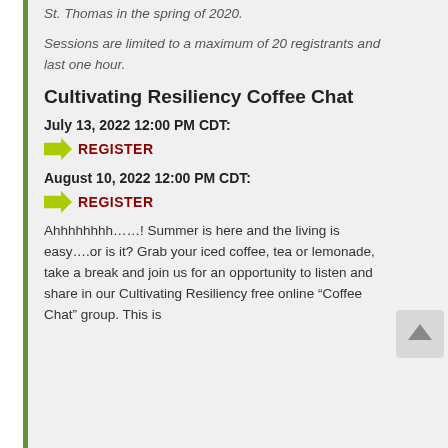St. Thomas in the spring of 2020.
Sessions are limited to a maximum of 20 registrants and last one hour.
Cultivating Resiliency Coffee Chat
July 13, 2022 12:00 PM CDT:
REGISTER
August 10, 2022 12:00 PM CDT:
REGISTER
Ahhhhhhhh……! Summer is here and the living is easy….or is it? Grab your iced coffee, tea or lemonade, take a break and join us for an opportunity to listen and share in our Cultivating Resiliency free online “Coffee Chat” group. This is